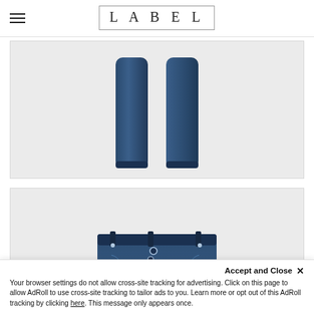LABEL
[Figure (photo): Product photo of blue denim jeans legs (bottom portion), showing two jean legs against a light grey background]
[Figure (photo): Product photo of blue denim jeans (waist/top portion), showing waistband and button fly detail against a light grey background]
Accept and Close ✕
Your browser settings do not allow cross-site tracking for advertising. Click on this page to allow AdRoll to use cross-site tracking to tailor ads to you. Learn more or opt out of this AdRoll tracking by clicking here. This message only appears once.